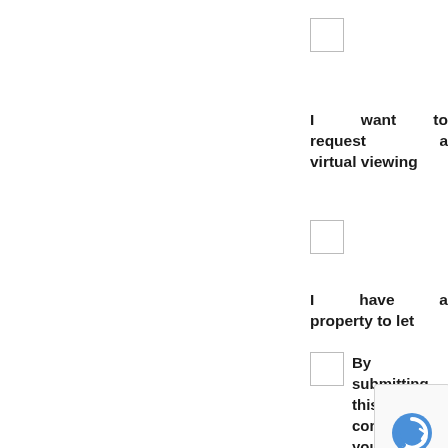I want to request a virtual viewing
I have a property to let
By submitting this you confirm that you agree to our privacy policy in line with GDPR regulation